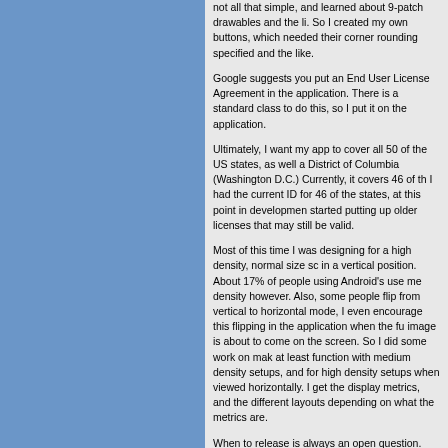not all that simple, and learned about 9-patch drawables and the li. So I created my own buttons, which needed their corner rounding specified and the like.
Google suggests you put an End User License Agreement in the application. There is a standard class to do this, so I put it on the application.
Ultimately, I want my app to cover all 50 of the US states, as well a District of Columbia (Washington D.C.) Currently, it covers 46 of th I had the current ID for 46 of the states, at this point in developmen started putting up older licenses that may still be valid.
Most of this time I was designing for a high density, normal size sc in a vertical position. About 17% of people using Android's use me density however. Also, some people flip from vertical to horizontal mode, I even encourage this flipping in the application when the fu image is about to come on the screen. So I did some work on mak at least function with medium density setups, and for high density setups when viewed horizontally. I get the display metrics, and the different layouts depending on what the metrics are.
When to release is always an open question. "Release early, relea often", agile development and so forth is the popular credo, and I a with it for most applications. On the other hand, you can't release t early, especially since Android Market has a rating system and so f But at this point, I felt I had enough, and the last four holdout states didn't look like I would get anything from them in the next few days decided 46 was enough to be useful, that layout looked decent for phones, and was at least usable for almost all phones. So I release
One thing I did not do when releasing was release the initial versio with ads. Why? Because Admob wants to know where it is on Go...